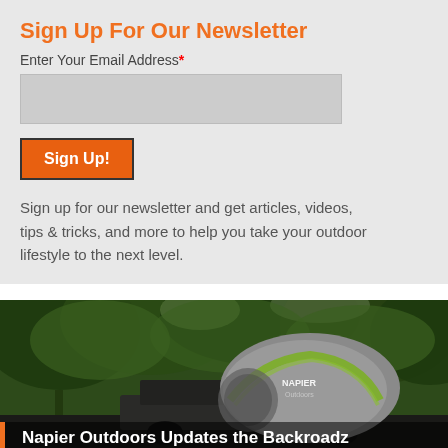Sign Up For Our Newsletter
Enter Your Email Address*
Sign Up!
Sign up for our newsletter and get articles, videos, tips & tricks, and more to help you take your outdoor lifestyle to the next level.
[Figure (photo): A Napier truck bed tent (gray and green) set up on the back of a dark pickup truck, surrounded by lush green trees. The Napier Outdoors logo is visible on the tent.]
Napier Outdoors Updates the Backroadz